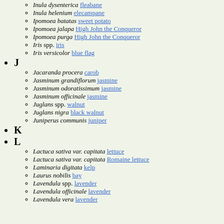Inula dysenterica fleabane
Inula helenium elecampane
Ipomoea batatas sweet potato
Ipomoea jalapa High John the Conqueror
Ipomoea purga High John the Conqueror
Iris spp. iris
Iris versicolor blue flag
J
Jacaranda procera carob
Jasminum grandiflorum jasmine
Jasminum odoratissimum jasmine
Jasminum officinale jasmine
Juglans spp. walnut
Juglans nigra black walnut
Juniperus communis juniper
K
L
Lactuca sativa var. capitata lettuce
Lactuca sativa var. capitata Romaine lettuce
Laminaria digitata kelp
Laurus nobilis bay
Lavendula spp. lavender
Lavendula officinale lavender
Lavendula vera lavender